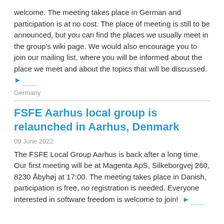welcome. The meeting takes place in German and participation is at no cost. The place of meeting is still to be announced, but you can find the places we usually meet in the group's wiki page. We would also encourage you to join our mailing list, where you will be informed about the place we meet and about the topics that will be discussed. ▶
Germany
FSFE Aarhus local group is relaunched in Aarhus, Denmark
09 June 2022
The FSFE Local Group Aarhus is back after a long time. Our first meeting will be at Magenta ApS, Silkeborgvej 260, 8230 Åbyhøj at 17:00. The meeting takes place in Danish, participation is free, no registration is needed. Everyone interested in software freedom is welcome to join! ▶